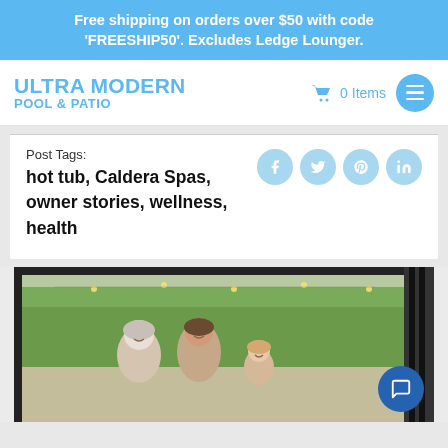Free shipping on orders over $50 with code 'FREESHIP50'. Excludes Ledge Lounger.
[Figure (logo): Ultra Modern Pool & Patio logo with shopping cart (0 Items) and hamburger menu button]
Post Tags: hot tub, Caldera Spas, owner stories, wellness, health
[Figure (photo): Photo showing two women and a child smiling, outdoors under a pergola with string lights and green trees in the background]